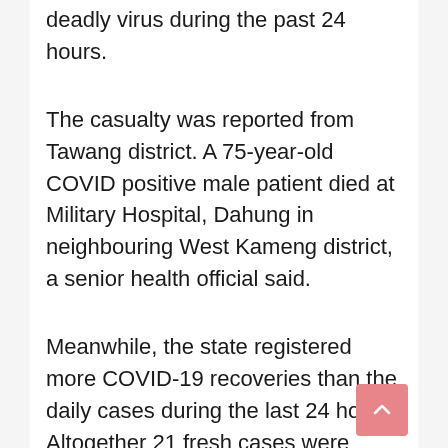deadly virus during the past 24 hours.
The casualty was reported from Tawang district. A 75-year-old COVID positive male patient died at Military Hospital, Dahung in neighbouring West Kameng district, a senior health official said.
Meanwhile, the state registered more COVID-19 recoveries than the daily cases during the last 24 hours. Altogether 21 fresh cases were reported from across the state in the period that increased its tally of confirmed cases to 54,865.